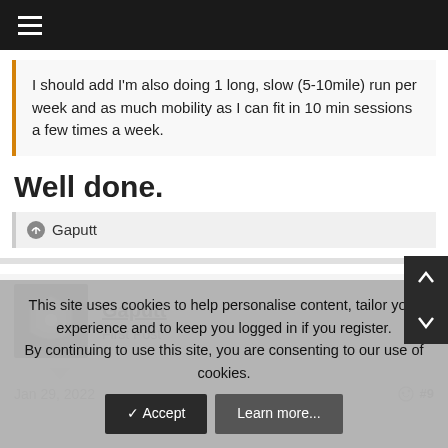≡
I should add I'm also doing 1 long, slow (5-10mile) run per week and as much mobility as I can fit in 10 min sessions a few times a week.
Well done.
Gaputt
Gaputt
First Post
Jan 29, 2022
This site uses cookies to help personalise content, tailor your experience and to keep you logged in if you register.
By continuing to use this site, you are consenting to our use of cookies.